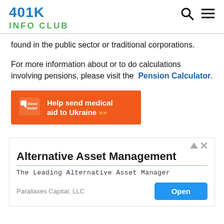401K INFO CLUB
found in the public sector or traditional corporations.
For more information about or to do calculations involving pensions, please visit the Pension Calculator.
[Figure (infographic): Orange advertisement banner for Direct Relief: 'Help send medical aid to Ukraine >>']
[Figure (infographic): Advertisement for Alternative Asset Management by Parallaxes Capital, LLC with 'Open' button. Subtitle: 'The Leading Alternative Asset Manager']